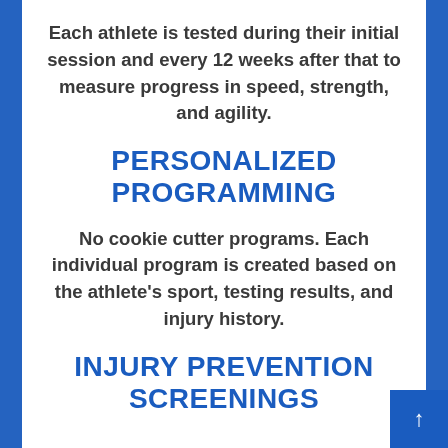Each athlete is tested during their initial session and every 12 weeks after that to measure progress in speed, strength, and agility.
PERSONALIZED PROGRAMMING
No cookie cutter programs. Each individual program is created based on the athlete's sport, testing results, and injury history.
INJURY PREVENTION SCREENINGS